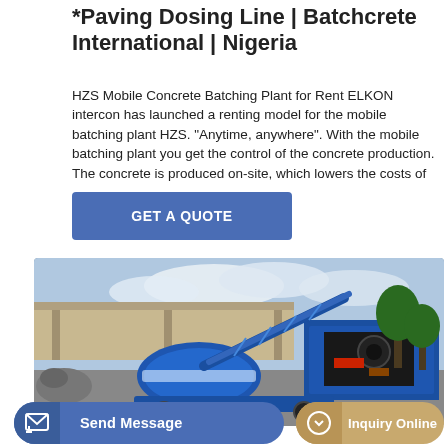*Paving Dosing Line | Batchcrete International | Nigeria
HZS Mobile Concrete Batching Plant for Rent ELKON intercon has launched a renting model for the mobile batching plant HZS. "Anytime, anywhere". With the mobile batching plant you get the control of the concrete production. The concrete is produced on-site, which lowers the costs of ...
[Figure (other): Blue button with text GET A QUOTE]
[Figure (photo): Photograph of a blue mobile concrete batching plant HZS with a drum mixer and machinery, parked in an outdoor industrial yard under a cloudy sky with trees and a shed in the background.]
[Figure (other): Bottom navigation bar with two buttons: 'Send Message' (blue, left) and 'Inquiry Online' (tan/gold, right)]